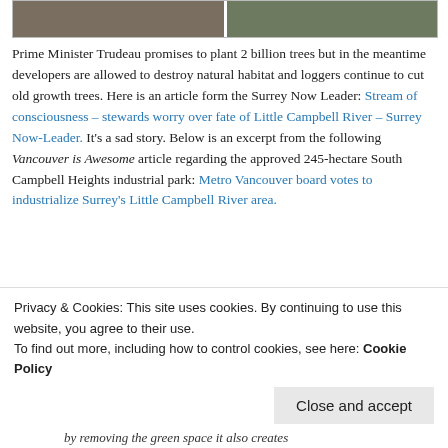[Figure (photo): Two nature/forest photos side by side at top of page]
Prime Minister Trudeau promises to plant 2 billion trees but in the meantime developers are allowed to destroy natural habitat and loggers continue to cut old growth trees. Here is an article form the Surrey Now Leader: Stream of consciousness – stewards worry over fate of Little Campbell River – Surrey Now-Leader. It's a sad story. Below is an excerpt from the following Vancouver is Awesome article regarding the approved 245-hectare South Campbell Heights industrial park: Metro Vancouver board votes to industrialize Surrey's Little Campbell River area.
Local scientists and environmentalists argued
Privacy & Cookies: This site uses cookies. By continuing to use this website, you agree to their use.
To find out more, including how to control cookies, see here: Cookie Policy
Close and accept
by removing the green space it also creates